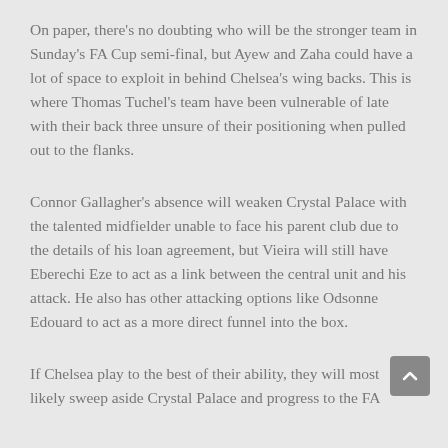On paper, there's no doubting who will be the stronger team in Sunday's FA Cup semi-final, but Ayew and Zaha could have a lot of space to exploit in behind Chelsea's wing backs. This is where Thomas Tuchel's team have been vulnerable of late with their back three unsure of their positioning when pulled out to the flanks.
Connor Gallagher's absence will weaken Crystal Palace with the talented midfielder unable to face his parent club due to the details of his loan agreement, but Vieira will still have Eberechi Eze to act as a link between the central unit and his attack. He also has other attacking options like Odsonne Edouard to act as a more direct funnel into the box.
If Chelsea play to the best of their ability, they will most likely sweep aside Crystal Palace and progress to the FA